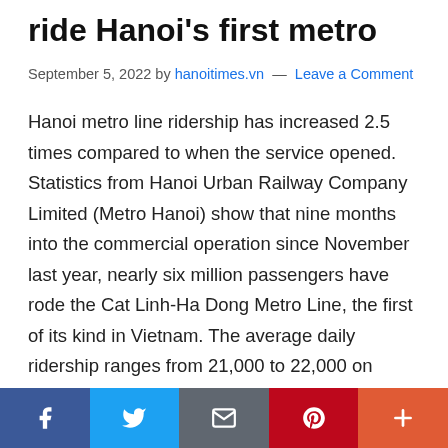ride Hanoi's first metro
September 5, 2022 by hanoitimes.vn — Leave a Comment
Hanoi metro line ridership has increased 2.5 times compared to when the service opened. Statistics from Hanoi Urban Railway Company Limited (Metro Hanoi) show that nine months into the commercial operation since November last year, nearly six million passengers have rode the Cat Linh-Ha Dong Metro Line, the first of its kind in Vietnam. The average daily ridership ranges from 21,000 to 22,000 on weekdays, and 25,000 to 30,000 on
[Figure (other): Social media share bar with Facebook, Twitter, Email, Pinterest, and More buttons]